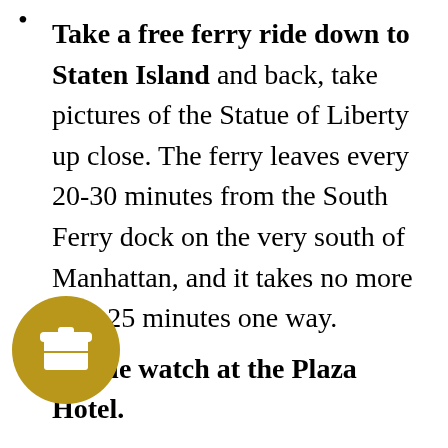Take a free ferry ride down to Staten Island and back, take pictures of the Statue of Liberty up close. The ferry leaves every 20-30 minutes from the South Ferry dock on the very south of Manhattan, and it takes no more than 25 minutes one way.
People watch at the Plaza Hotel.
Walk down the Broadway route from Wall Street, through the one of a kind eateries in